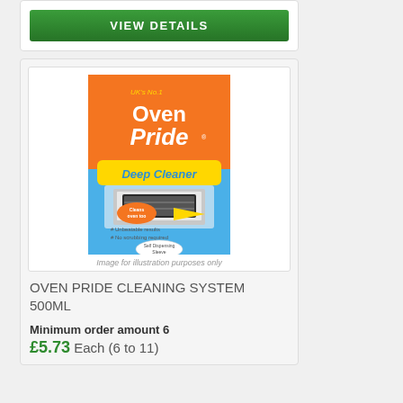VIEW DETAILS
[Figure (photo): Oven Pride Deep Cleaner 500ML product package on orange and blue background]
Image for illustration purposes only
OVEN PRIDE CLEANING SYSTEM 500ML
Minimum order amount 6
£5.73 Each (6 to 11)